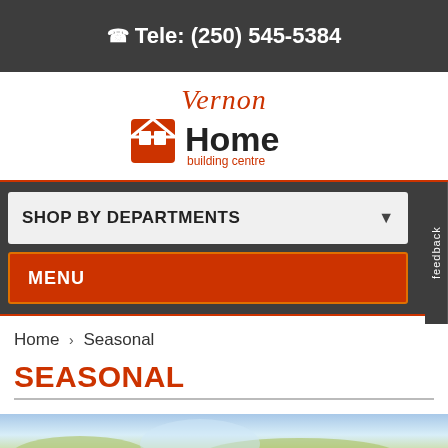Tele: (250) 545-5384
[Figure (logo): Vernon Home Building Centre logo — cursive 'Vernon' text above a red square icon with stylized house/person graphic, followed by bold 'Home' and smaller 'building centre' text]
SHOP BY DEPARTMENTS
MENU
feedback
Home › Seasonal
SEASONAL
[Figure (photo): Partial view of a seasonal outdoor/landscape image at the bottom of the page, cut off]